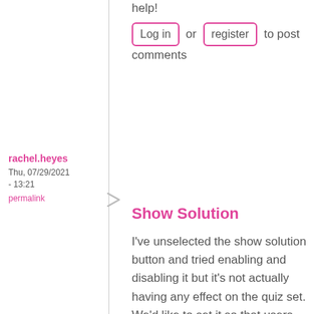help!
Log in or register to post comments
rachel.heyes
Thu, 07/29/2021 - 13:21
permalink
Show Solution
I've unselected the show solution button and tried enabling and disabling it but it's not actually having any effect on the quiz set. We'd like to set it so that users have to provide an answer before they can view the solution. Any ideas?